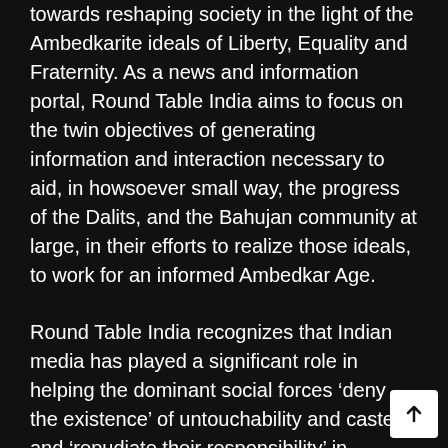towards reshaping society in the light of the Ambedkarite ideals of Liberty, Equality and Fraternity. As a news and information portal, Round Table India aims to focus on the twin objectives of generating information and interaction necessary to aid, in howsoever small way, the progress of the Dalits, and the Bahujan community at large, in their efforts to realize those ideals, to work for an informed Ambedkar Age.
Round Table India recognizes that Indian media has played a significant role in helping the dominant social forces ‘deny the existence’ of untouchability and caste and ‘repudiate their responsibility’ in building and maintaini an unjust social order. It has consistently